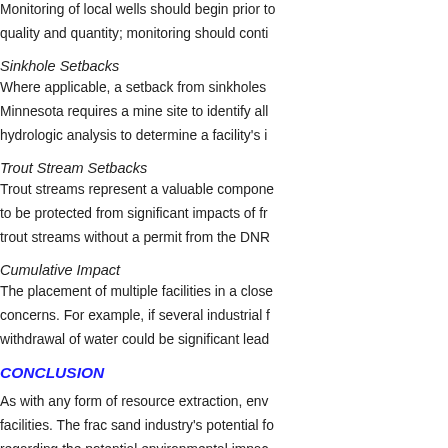Monitoring of local wells should begin prior to quality and quantity; monitoring should conti
Sinkhole Setbacks
Where applicable, a setback from sinkholes Minnesota requires a mine site to identify all hydrologic analysis to determine a facility's i
Trout Stream Setbacks
Trout streams represent a valuable compone to be protected from significant impacts of fr trout streams without a permit from the DNR
Cumulative Impact
The placement of multiple facilities in a close concerns. For example, if several industrial f withdrawal of water could be significant lead
CONCLUSION
As with any form of resource extraction, env facilities. The frac sand industry's potential fo regarding the potential environmental impac degrade the quality and quality of water reso economy and residents' quality of life.
When drafting ordinances for frac sand mini costs the industry — such as losses of touris along with the benefits that can be expected multiple industrial frac sand facilities operatin permitting any single mine.